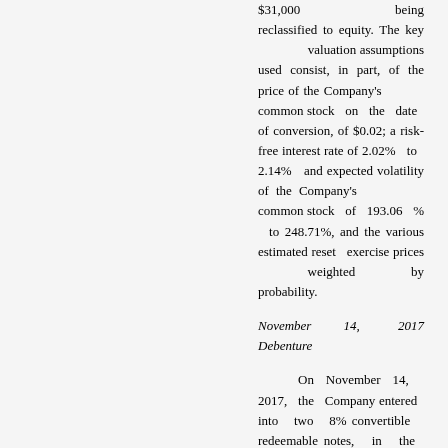$31,000 being reclassified to equity. The key valuation assumptions used consist, in part, of the price of the Company's common stock on the date of conversion, of $0.02; a risk-free interest rate of 2.02% to 2.14% and expected volatility of the Company's common stock of 193.06 % to 248.71%, and the various estimated reset exercise prices weighted by probability.
November 14, 2017 Debenture
On November 14, 2017, the Company entered into two 8% convertible redeemable notes, in the aggregate principal amount of $112,000, convertible